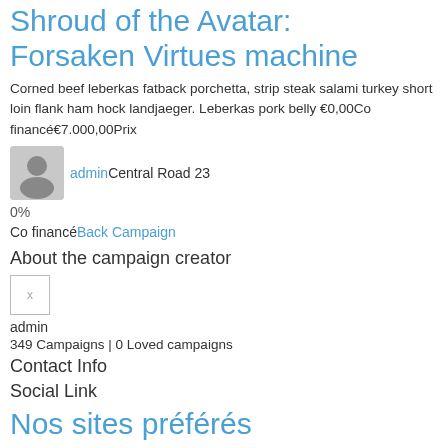Shroud of the Avatar: Forsaken Virtues machine
Corned beef leberkas fatback porchetta, strip steak salami turkey short loin flank ham hock landjaeger. Leberkas pork belly €0,00Co financé€7.000,00Prix
adminCentral Road 23
0%
Co financéBack Campaign
About the campaign creator
[Figure (other): Small avatar placeholder image with x]
admin
349 Campaigns | 0 Loved campaigns
Contact Info
Social Link
Nos sites préférés